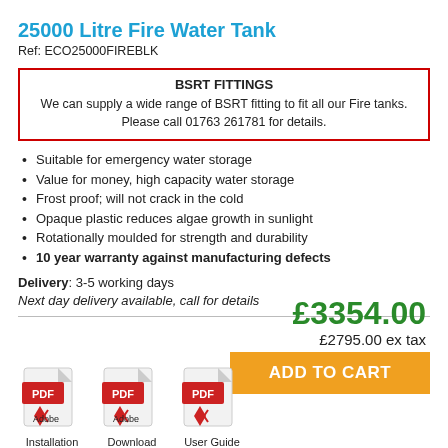25000 Litre Fire Water Tank
Ref: ECO25000FIREBLK
BSRT FITTINGS
We can supply a wide range of BSRT fitting to fit all our Fire tanks. Please call 01763 261781 for details.
Suitable for emergency water storage
Value for money, high capacity water storage
Frost proof; will not crack in the cold
Opaque plastic reduces algae growth in sunlight
Rotationally moulded for strength and durability
10 year warranty against manufacturing defects
Delivery: 3-5 working days
Next day delivery available, call for details
£3354.00
£2795.00 ex tax
[Figure (other): PDF icon for Installation download]
[Figure (other): PDF icon for Download]
[Figure (other): PDF icon for User Guide]